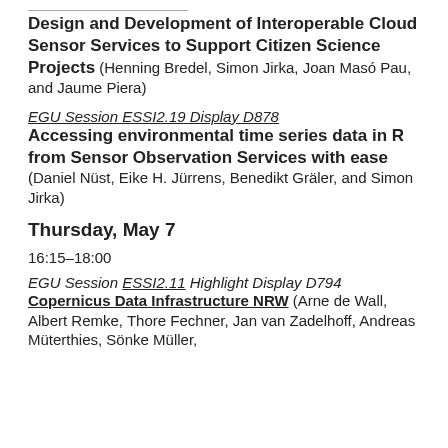Design and Development of Interoperable Cloud Sensor Services to Support Citizen Science Projects (Henning Bredel, Simon Jirka, Joan Masó Pau, and Jaume Piera)
EGU Session ESSI2.19 Display D878
Accessing environmental time series data in R from Sensor Observation Services with ease (Daniel Nüst, Eike H. Jürrens, Benedikt Gräler, and Simon Jirka)
Thursday, May 7
16:15–18:00
EGU Session ESSI2.11 Highlight Display D794
Copernicus Data Infrastructure NRW (Arne de Wall, Albert Remke, Thore Fechner, Jan van Zadelhoff, Andreas Müterthies, Sönke Müller,